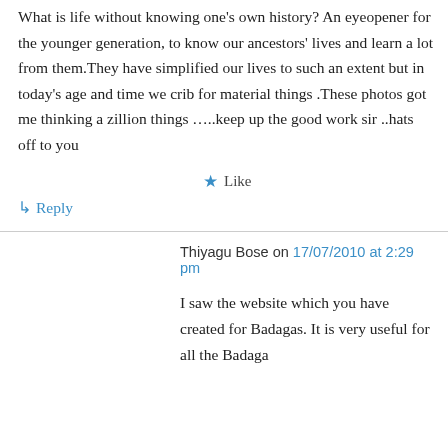What is life without knowing one's own history? An eyeopener for the younger generation, to know our ancestors' lives and learn a lot from them.They have simplified our lives to such an extent but in today's age and time we crib for material things .These photos got me thinking a zillion things …..keep up the good work sir ..hats off to you
★ Like
↳ Reply
Thiyagu Bose on 17/07/2010 at 2:29 pm
I saw the website which you have created for Badagas. It is very useful for all the Badaga